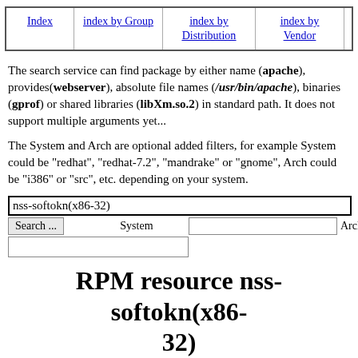[Figure (other): Navigation bar with links: Index, index by Group, index by Distribution, index by Vendor, index by creation date, index by Name, Mirrors]
The search service can find package by either name (apache), provides(webserver), absolute file names (/usr/bin/apache), binaries (gprof) or shared libraries (libXm.so.2) in standard path. It does not support multiple arguments yet...
The System and Arch are optional added filters, for example System could be "redhat", "redhat-7.2", "mandrake" or "gnome", Arch could be "i386" or "src", etc. depending on your system.
| nss-softokn(x86-32) |
| Search ...  System  [field]  Arch |
| [field] |
RPM resource nss-softokn(x86-32)